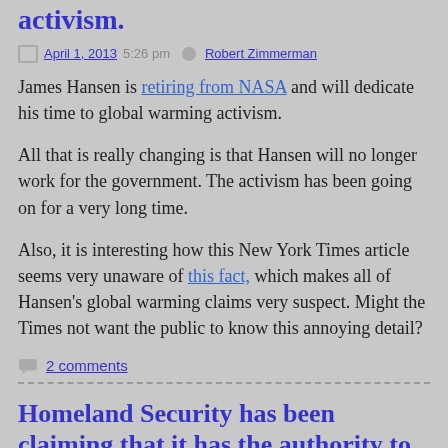activism.
April 1, 2013 5:26 pm   Robert Zimmerman
James Hansen is retiring from NASA and will dedicate his time to global warming activism.
All that is really changing is that Hansen will no longer work for the government. The activism has been going on for a very long time.
Also, it is interesting how this New York Times article seems very unaware of this fact, which makes all of Hansen's global warming claims very suspect. Might the Times not want the public to know this annoying detail?
2 comments
Homeland Security has been claiming that it has the authority to inspect private safety deposit boxes without warrants.